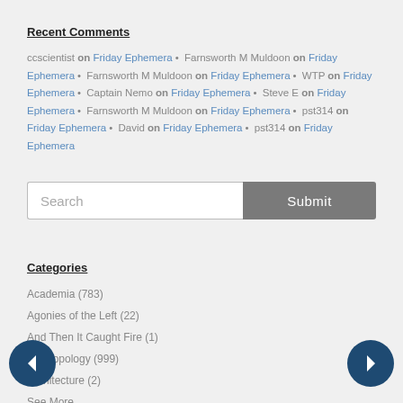Recent Comments
ccscientist on Friday Ephemera • Farnsworth M Muldoon on Friday Ephemera • Farnsworth M Muldoon on Friday Ephemera • WTP on Friday Ephemera • Captain Nemo on Friday Ephemera • Steve E on Friday Ephemera • Farnsworth M Muldoon on Friday Ephemera • pst314 on Friday Ephemera • David on Friday Ephemera • pst314 on Friday Ephemera
[Figure (other): Search input box with Submit button]
Categories
Academia (783)
Agonies of the Left (22)
And Then It Caught Fire (1)
Anthropology (999)
Architecture (2)
See More